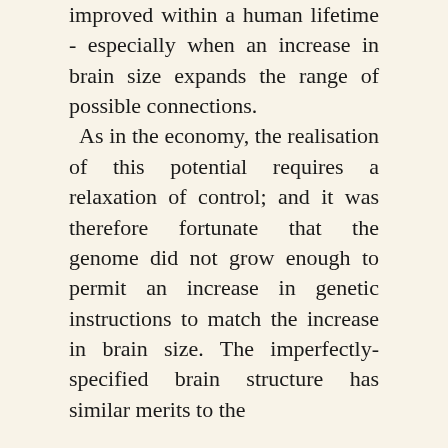improved within a human lifetime - especially when an increase in brain size expands the range of possible connections. As in the economy, the realisation of this potential requires a relaxation of control; and it was therefore fortunate that the genome did not grow enough to permit an increase in genetic instructions to match the increase in brain size. The imperfectly-specified brain structure has similar merits to the